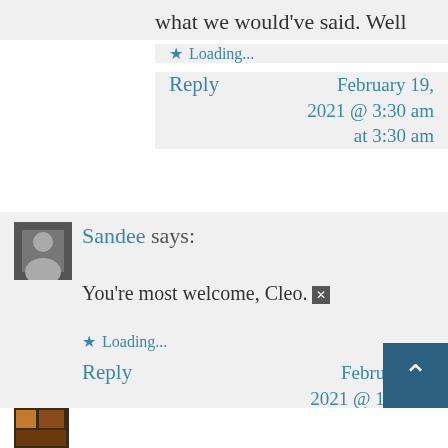what we would've said. Well done.
★ Loading...
Reply  February 19, 2021 @ 3:30 am at 3:30 am
[Figure (photo): User avatar thumbnail]
Sandee says:
You're most welcome, Cleo. 🗙
★ Loading...
Reply  February 19, 2021 @ 1:18 pm at 1:18
[Figure (photo): User avatar thumbnail at bottom]